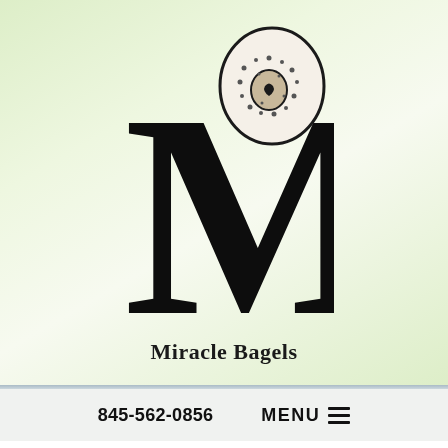[Figure (logo): Miracle Bagels logo — large serif M with a bagel illustration overlaid on the right side of the letter]
Miracle Bagels
845-562-0856   MENU
Privacy Policy
Miracle Bagels is committed to protecting your privacy and developing